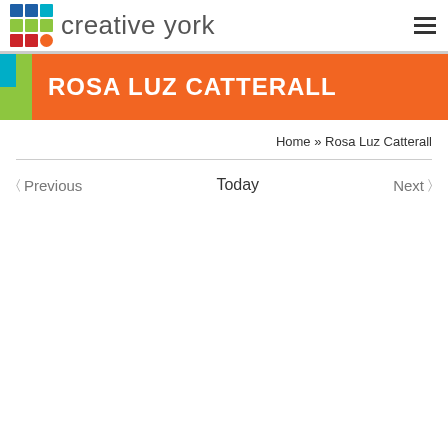creative york
ROSA LUZ CATTERALL
Home » Rosa Luz Catterall
< Previous    Today    Next >